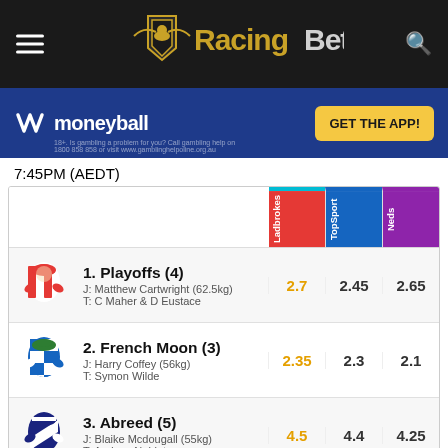[Figure (logo): RacingBet logo with horse/shield graphic and hamburger menu, search icon on dark header bar]
[Figure (infographic): Moneyball advertisement banner with blue background, moneyball logo, and yellow GET THE APP button]
7:45PM (AEDT)
|  | Silk | Horse | Ladbrokes | TopSport | Neds |
| --- | --- | --- | --- | --- | --- |
| 1 |  | 1. Playoffs (4)
J: Matthew Cartwright (62.5kg)
T: C Maher & D Eustace | 2.7 | 2.45 | 2.65 |
| 2 |  | 2. French Moon (3)
J: Harry Coffey (56kg)
T: Symon Wilde | 2.35 | 2.3 | 2.1 |
| 3 |  | 3. Abreed (5)
J: Blaike Mcdougall (55kg)
T: Andrew Noblet | 4.5 | 4.4 | 4.25 |
| 4 |  | 4. Heartland Raider (8)
J: Craig Newitt (55kg) | 81 | 81 | 93 |